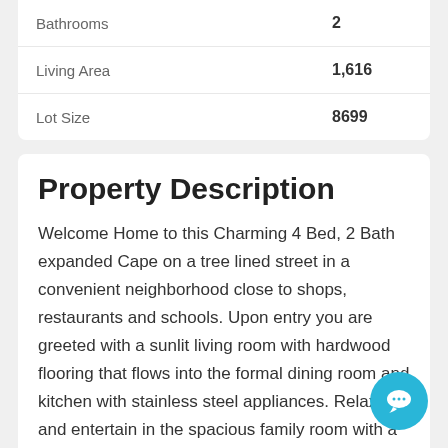| Property | Value |
| --- | --- |
| Bathrooms | 2 |
| Living Area | 1,616 |
| Lot Size | 8699 |
Property Description
Welcome Home to this Charming 4 Bed, 2 Bath expanded Cape on a tree lined street in a convenient neighborhood close to shops, restaurants and schools. Upon entry you are greeted with a sunlit living room with hardwood flooring that flows into the formal dining room and kitchen with stainless steel appliances. Relax and entertain in the spacious family room with a wood burning fireplace and vaulted ceilings. Sliding